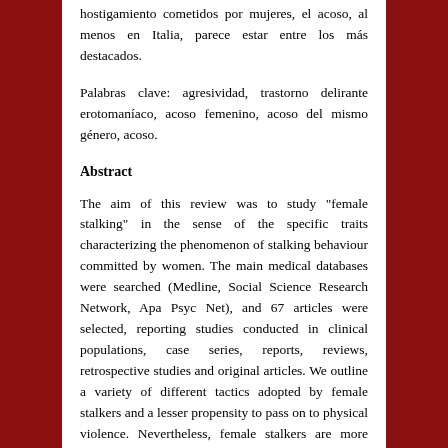hostigamiento cometidos por mujeres, el acoso, al menos en Italia, parece estar entre los más destacados.
Palabras clave: agresividad, trastorno delirante erotomaníaco, acoso femenino, acoso del mismo género, acoso.
Abstract
The aim of this review was to study "female stalking" in the sense of the specific traits characterizing the phenomenon of stalking behaviour committed by women. The main medical databases were searched (Medline, Social Science Research Network, Apa Psyc Net), and 67 articles were selected, reporting studies conducted in clinical populations, case series, reports, reviews, retrospective studies and original articles. We outline a variety of different tactics adopted by female stalkers and a lesser propensity to pass on to physical violence. Nevertheless, female stalkers are more frequently affected by erotomania, and this condition generally increases the risk of violence. If there have